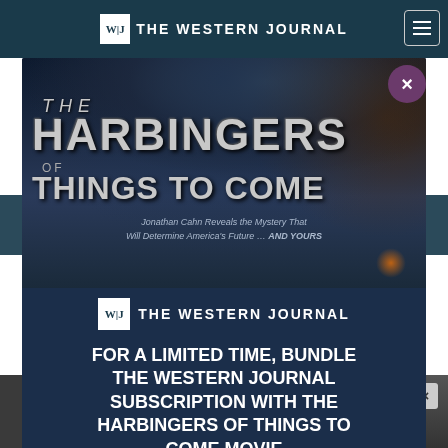THE WESTERN JOURNAL
assed t draft.
[Figure (screenshot): Modal advertisement overlay on The Western Journal website. Shows a movie poster for 'The Harbingers of Things to Come' with The Western Journal branding and promotional text: 'FOR A LIMITED TIME, BUNDLE THE WESTERN JOURNAL SUBSCRIPTION WITH THE HARBINGERS OF THINGS TO COME MOVIE'. A purple close button (X) appears in the top right of the modal.]
FOR A LIMITED TIME, BUNDLE THE WESTERN JOURNAL SUBSCRIPTION WITH THE HARBINGERS OF THINGS TO COME MOVIE